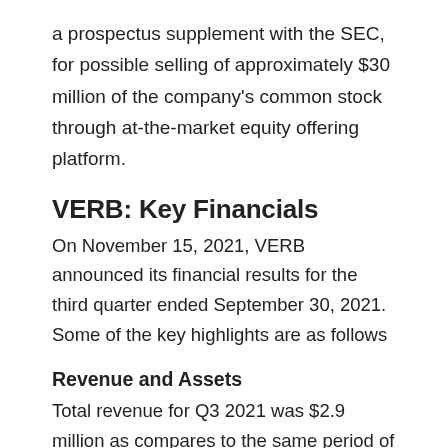a prospectus supplement with the SEC, for possible selling of approximately $30 million of the company's common stock through at-the-market equity offering platform.
VERB: Key Financials
On November 15, 2021, VERB announced its financial results for the third quarter ended September 30, 2021. Some of the key highlights are as follows
Revenue and Assets
Total revenue for Q3 2021 was $2.9 million as compares to the same period of 2020 when it